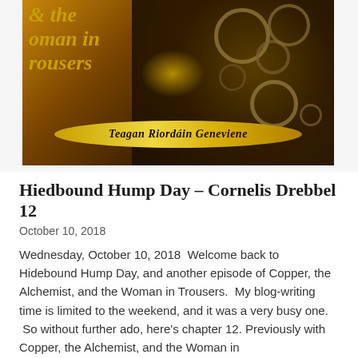[Figure (illustration): Book cover image for 'Copper, the Alchemist, and the Woman in Trousers' by Teagan Riordáin Geneviene. Shows steampunk-style gears and machinery with warm golden-brown tones. Author name appears on a golden oval band at the bottom. Title text visible on left side in italic bold.]
Hiedbound Hump Day – Cornelis Drebbel 12
October 10, 2018
Wednesday, October 10, 2018  Welcome back to Hidebound Hump Day, and another episode of Copper, the Alchemist, and the Woman in Trousers.  My blog-writing time is limited to the weekend, and it was a very busy one.  So without further ado, here's chapter 12. Previously with Copper, the Alchemist, and the Woman in